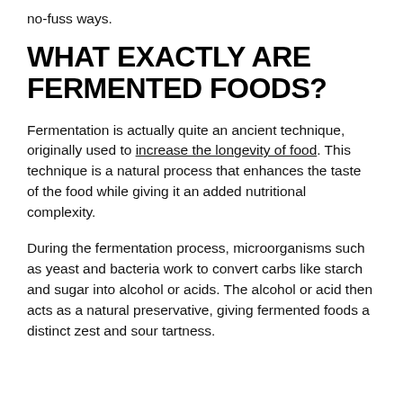no-fuss ways.
WHAT EXACTLY ARE FERMENTED FOODS?
Fermentation is actually quite an ancient technique, originally used to increase the longevity of food. This technique is a natural process that enhances the taste of the food while giving it an added nutritional complexity.
During the fermentation process, microorganisms such as yeast and bacteria work to convert carbs like starch and sugar into alcohol or acids. The alcohol or acid then acts as a natural preservative, giving fermented foods a distinct zest and sour tartness.